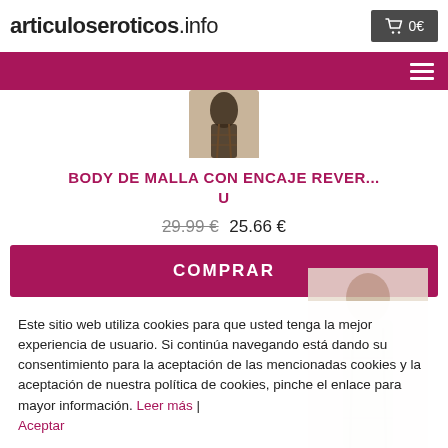articuloseroticos.info
[Figure (photo): Product image of a mesh body with lace, top portion visible]
BODY DE MALLA CON ENCAJE REVER... U
29.99 € 25.66 €
COMPRAR
[Figure (photo): Second product photo partially visible in background]
Este sitio web utiliza cookies para que usted tenga la mejor experiencia de usuario. Si continúa navegando está dando su consentimiento para la aceptación de las mencionadas cookies y la aceptación de nuestra política de cookies, pinche el enlace para mayor información. Leer más | Aceptar